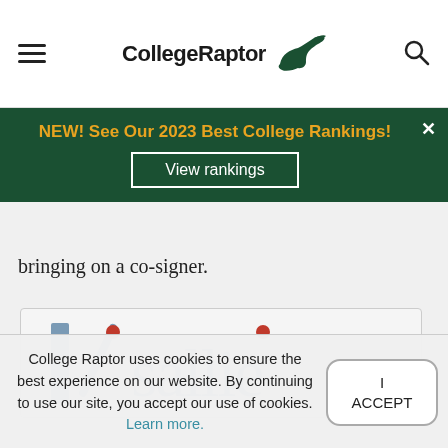CollegeRaptor
NEW! See Our 2023 Best College Rankings! View rankings
bringing on a co-signer.
[Figure (logo): Sallie Mae logo partially visible]
College Raptor uses cookies to ensure the best experience on our website. By continuing to use our site, you accept our use of cookies. Learn more.